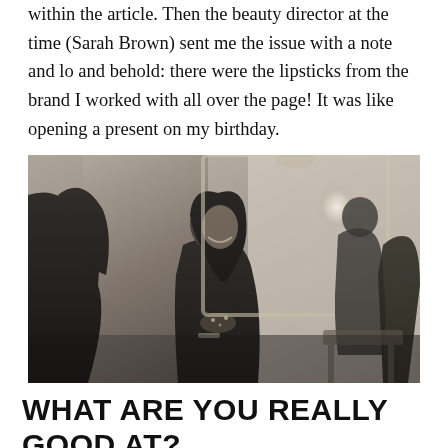within the article. Then the beauty director at the time (Sarah Brown) sent me the issue with a note and lo and behold: there were the lipsticks from the brand I worked with all over the page! It was like opening a present on my birthday.
[Figure (photo): Black and white photograph of a woman with dark hair smiling, standing in an ornate room with a decorative mirror, surrounded by other people in dark clothing.]
WHAT ARE YOU REALLY GOOD AT?